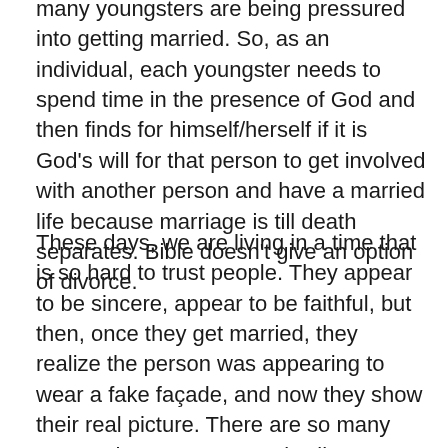many youngsters are being pressured into getting married. So, as an individual, each youngster needs to spend time in the presence of God and then finds for himself/herself if it is God's will for that person to get involved with another person and have a married life because marriage is till death separates. Bible doesn't give an option of divorce.
These days, we are living in a time that is so hard to trust people. They appear to be sincere, appear to be faithful, but then, once they get married, they realize the person was appearing to wear a fake façade, and now they show their real picture. There are so many cases where one partner is silent, undergoing all the abuses and not sharing it with anyone. With only one thing mind, that it will bring shame to the family and they undergo that torture till the end. So, I want you to understand, that you have to decide, if you feel that yes, it's the Lord's will for me to get married, then get married. Otherwise, if you don't get the